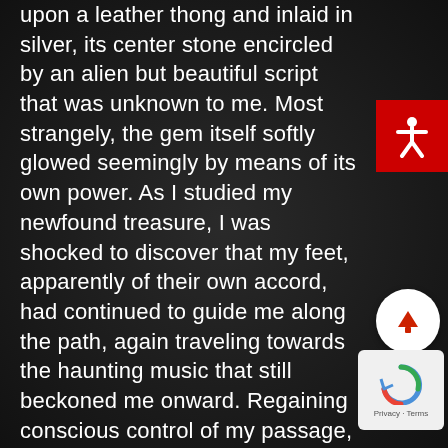upon a leather thong and inlaid in silver, its center stone encircled by an alien but beautiful script that was unknown to me. Most strangely, the gem itself softly glowed seemingly by means of its own power. As I studied my newfound treasure, I was shocked to discover that my feet, apparently of their own accord, had continued to guide me along the path, again traveling towards the haunting music that still beckoned me onward. Regaining conscious control of my passage, slightly shaken by my auto-ambulation despite the reassuring lilt of the music, I slipped the pendant into my pocket and cautiously proceeded, exhilarant and nervous to discover
[Figure (other): Red accessibility button with white person/human icon]
[Figure (other): White circular scroll-to-top button with red upward arrow]
[Figure (other): reCAPTCHA widget box with Privacy and Terms links]